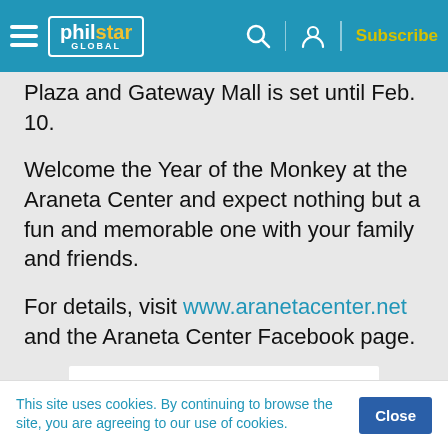philstar GLOBAL — navigation bar with Subscribe
Plaza and Gateway Mall is set until Feb. 10.
Welcome the Year of the Monkey at the Araneta Center and expect nothing but a fun and memorable one with your family and friends.
For details, visit www.aranetacenter.net and the Araneta Center Facebook page.
[Figure (other): White advertisement placeholder box]
This site uses cookies. By continuing to browse the site, you are agreeing to our use of cookies.